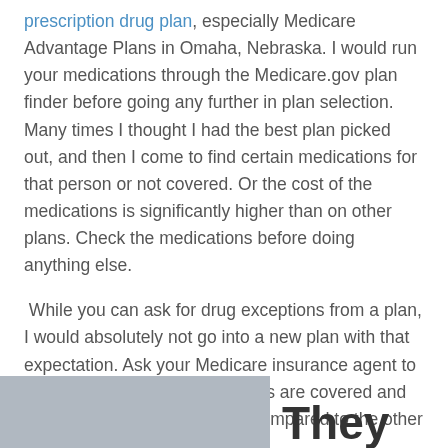prescription drug plan, especially Medicare Advantage Plans in Omaha, Nebraska. I would run your medications through the Medicare.gov plan finder before going any further in plan selection. Many times I thought I had the best plan picked out, and then I come to find certain medications for that person or not covered. Or the cost of the medications is significantly higher than on other plans. Check the medications before doing anything else.
While you can ask for drug exceptions from a plan, I would absolutely not go into a new plan with that expectation. Ask your Medicare insurance agent to make sure all of the medications are covered and covered at a reasonable rate compared to the other plans in the area.
[Figure (photo): Partial view of a gray image on the bottom left, with bold text 'They' partially visible on the bottom right]